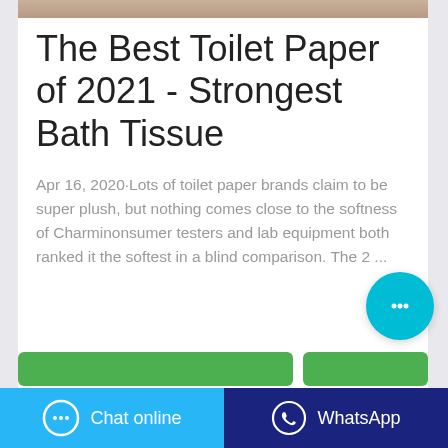[Figure (photo): Partial image of toilet paper roll at the top of the card]
The Best Toilet Paper of 2021 - Strongest Bath Tissue
Apr 16, 2020·Lots of toilet paper brands claim to be super plush, but nothing comes close to the softness of Charminonsumer testers and lab equipment both ranked it the softest in a blind comparison. The 2 ...